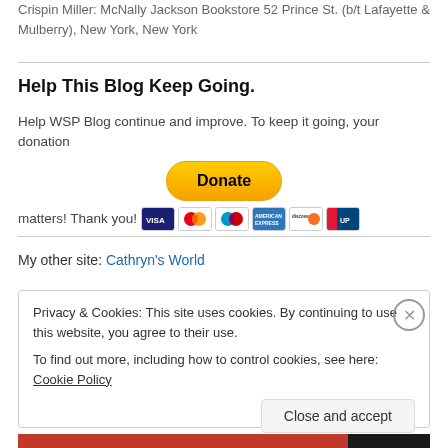Crispin Miller: McNally Jackson Bookstore 52 Prince St. (b/t Lafayette & Mulberry), New York, New York
Help This Blog Keep Going.
Help WSP Blog continue and improve. To keep it going, your donation matters! Thank you!
My other site: Cathryn's World
Privacy & Cookies: This site uses cookies. By continuing to use this website, you agree to their use.
To find out more, including how to control cookies, see here: Cookie Policy